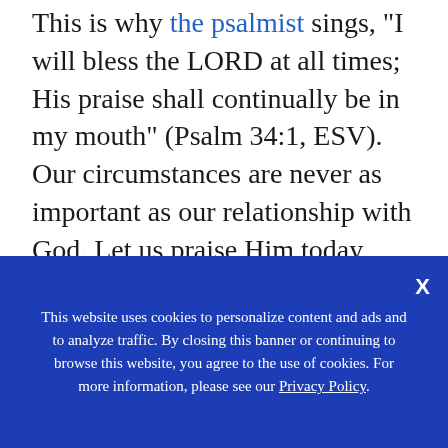This is why the psalmist sings, "I will bless the LORD at all times; His praise shall continually be in my mouth" (Psalm 34:1, ESV). Our circumstances are never as important as our relationship with God. Let us praise Him today, now, while we still have life and breath to do so.

Praise Him today. Praise Him in all situations. Whether you choose right or wrong for the things of this world, you can always choose what is right for the next.
This website uses cookies to personalize content and ads and to analyze traffic. By closing this banner or continuing to browse this website, you agree to the use of cookies. For more information, please see our Privacy Policy.